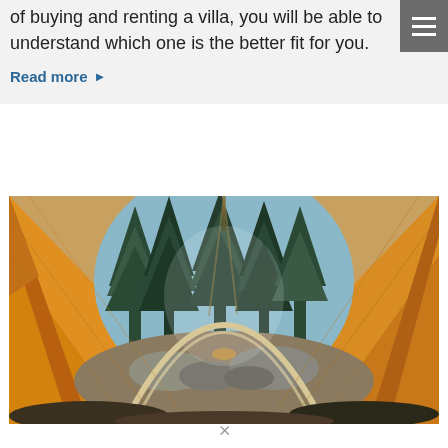of buying and renting a villa, you will be able to understand which one is the better fit for you.
Read more ▶
[Figure (photo): View from inside an orange canvas tent looking out through the open front flap at a forest campsite with tall pine trees, rocks, and soft daylight filtering through.]
∨